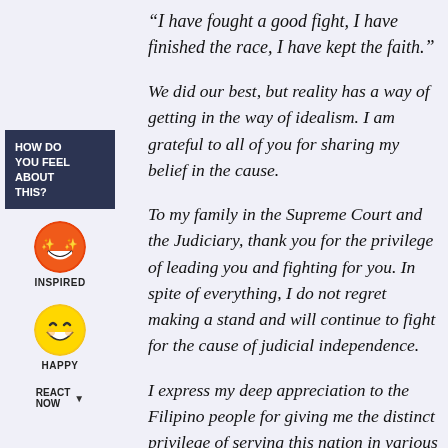“I have fought a good fight, I have finished the race, I have kept the faith.”
[Figure (infographic): Sidebar widget with dark navy box labeled HOW DO YOU FEEL ABOUT THIS?, an inspired emoji (red face with sparks eyes), a happy emoji (yellow grinning face), and REACT NOW text with a downward arrow.]
We did our best, but reality has a way of getting in the way of idealism. I am grateful to all of you for sharing my belief in the cause.
To my family in the Supreme Court and the Judiciary, thank you for the privilege of leading you and fighting for you. In spite of everything, I do not regret making a stand and will continue to fight for the cause of judicial independence.
I express my deep appreciation to the Filipino people for giving me the distinct privilege of serving this nation in various official capacities and ultimately as the Chief Justice. The time has come, however, to render service to our people